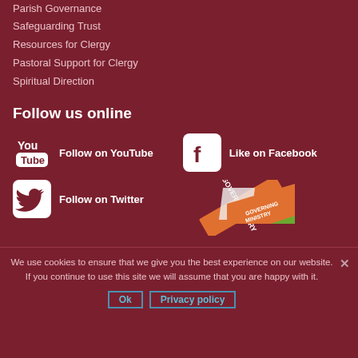Parish Governance
Safeguarding Trust
Resources for Clergy
Pastoral Support for Clergy
Spiritual Direction
Follow us online
[Figure (logo): YouTube logo icon with Follow on YouTube text]
[Figure (logo): Facebook logo icon with Like on Facebook text]
[Figure (logo): Twitter logo icon with Follow on Twitter text]
[Figure (illustration): Diagonal banner or ribbon graphic]
We use cookies to ensure that we give you the best experience on our website. If you continue to use this site we will assume that you are happy with it.
Ok
Privacy policy